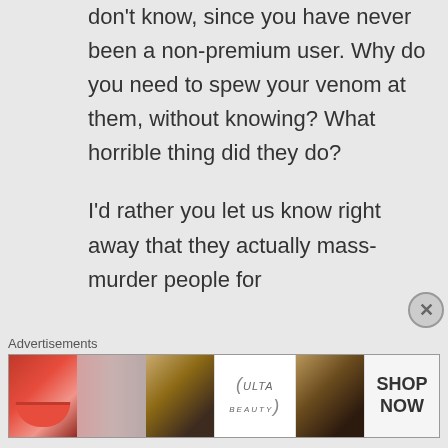don't know, since you have never been a non-premium user. Why do you need to spew your venom at them, without knowing? What horrible thing did they do?

I'd rather you let us know right away that they actually mass-murder people for
Advertisements
[Figure (photo): Advertisement banner showing beauty/makeup products with Ulta Beauty logo and Shop Now call to action]